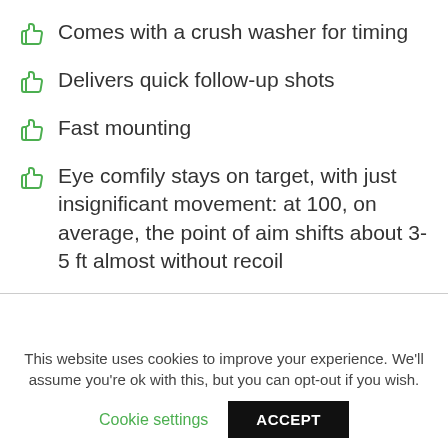Comes with a crush washer for timing
Delivers quick follow-up shots
Fast mounting
Eye comfily stays on target, with just insignificant movement: at 100, on average, the point of aim shifts about 3-5 ft almost without recoil
This website uses cookies to improve your experience. We'll assume you're ok with this, but you can opt-out if you wish.
Cookie settings | ACCEPT